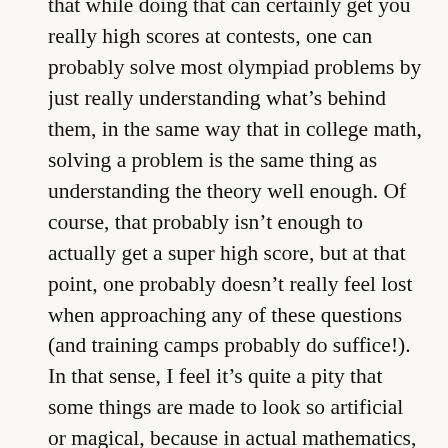that while doing that can certainly get you really high scores at contests, one can probably solve most olympiad problems by just really understanding what's behind them, in the same way that in college math, solving a problem is the same thing as understanding the theory well enough. Of course, that probably isn't enough to actually get a super high score, but at that point, one probably doesn't really feel lost when approaching any of these questions (and training camps probably do suffice!). In that sense, I feel it's quite a pity that some things are made to look so artificial or magical, because in actual mathematics, there are rarely magical things going on (some look like magic, because someone removed the context in which they were developed). I'm curious what your experience with these kinds of things was(as probably some of the